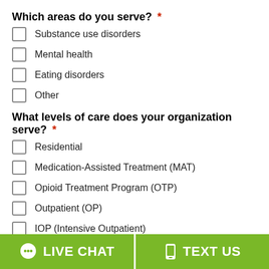Which areas do you serve? *
Substance use disorders
Mental health
Eating disorders
Other
What levels of care does your organization serve? *
Residential
Medication-Assisted Treatment (MAT)
Opioid Treatment Program (OTP)
Outpatient (OP)
IOP (Intensive Outpatient)
Detox
LIVE CHAT   TEXT US